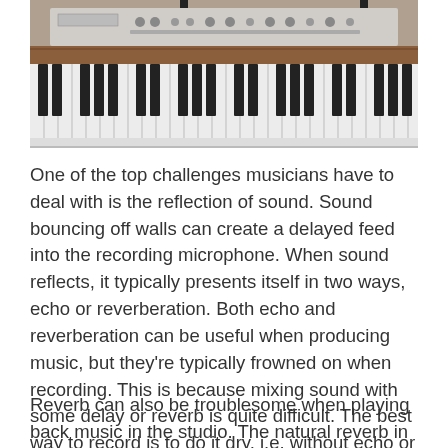[Figure (photo): Photo of a keyboard/synthesizer with black and white keys, a rack-mounted audio interface/equipment on top, on a wooden surface.]
One of the top challenges musicians have to deal with is the reflection of sound. Sound bouncing off walls can create a delayed feed into the recording microphone. When sound reflects, it typically presents itself in two ways, echo or reverberation. Both echo and reverberation can be useful when producing music, but they're typically frowned on when recording. This is because mixing sound with some delay or reverb is quite difficult. The best way to record is to do it dry, i.e. without echo or reverb.
Reverb can also be troublesome when playing back music in the studio. The natural reverb in the studio can mess with your perception of the sound. This